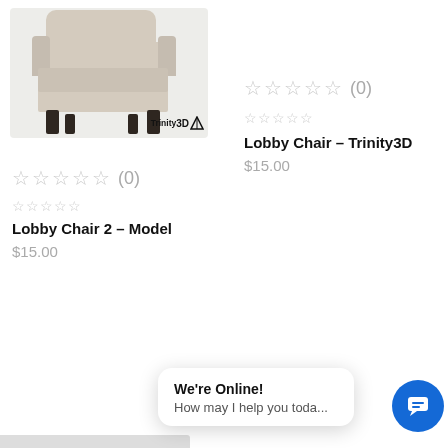[Figure (photo): Product image of a lobby chair (beige/cream upholstery with dark wood legs) with Trinity3D watermark]
☆☆☆☆☆ (0)
☆☆☆☆☆
Lobby Chair - Trinity3D
$15.00
☆☆☆☆☆ (0)
☆☆☆☆☆
Lobby Chair 2 – Model
$15.00
We're Online!
How may I help you toda...